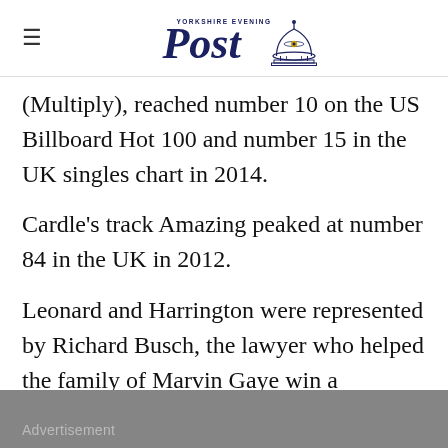Yorkshire Evening Post
(Multiply), reached number 10 on the US Billboard Hot 100 and number 15 in the UK singles chart in 2014.
Cardle's track Amazing peaked at number 84 in the UK in 2012.
Leonard and Harrington were represented by Richard Busch, the lawyer who helped the family of Marvin Gaye win a copyright infringement case in 2015.
Advertisement